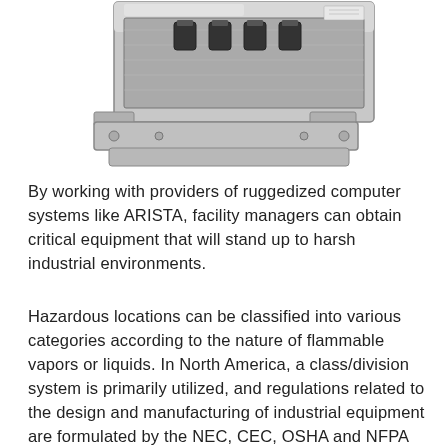[Figure (photo): A rugged industrial computer enclosure/device shown from below at an angle, made of brushed metal/stainless steel with connectors and mounting hardware visible.]
By working with providers of ruggedized computer systems like ARISTA, facility managers can obtain critical equipment that will stand up to harsh industrial environments.
Hazardous locations can be classified into various categories according to the nature of flammable vapors or liquids. In North America, a class/division system is primarily utilized, and regulations related to the design and manufacturing of industrial equipment are formulated by the NEC, CEC, OSHA and NFPA (National Fire Protection Association). Outside of North America, a similar “zone”